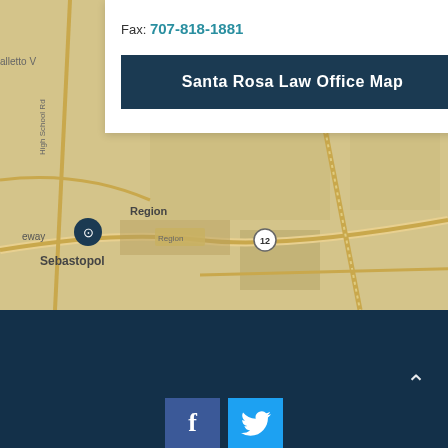Fax: 707-818-1881
Santa Rosa Law Office Map
[Figure (map): Google Maps screenshot showing area around Sebastopol and Llano, with roads including Ludwig Ave and route 12, beige/tan map style]
Review Us
[Figure (logo): Facebook icon - blue square with white F]
[Figure (logo): Twitter icon - light blue square with white bird]